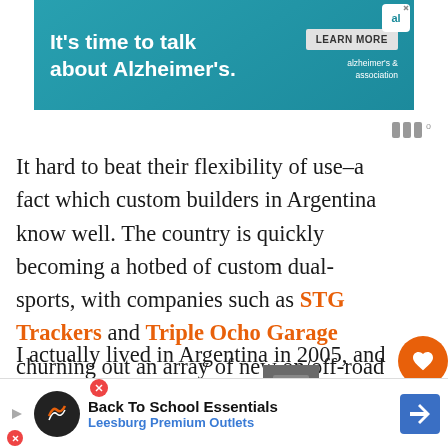[Figure (screenshot): Advertisement banner: teal background with text 'It's time to talk about Alzheimer's.' and a LEARN MORE button, Alzheimer's Association logo top right]
[Figure (other): Weather/utility icon strip top right]
It hard to beat their flexibility of use–a fact which custom builders in Argentina know well. The country is quickly becoming a hotbed of custom dual-sports, with companies such as STG Trackers and Triple Ocho Garage churning out an array of new on/off-road customs.
I actually lived in Argentina in 2005, and there were quite a few cool two-stroke enduros on the road, but the trend of new wave customization hadn't yet struck. I'd lo...
[Figure (screenshot): What's Next panel with Honda XR250 thumbnail and label]
[Figure (screenshot): Bottom advertisement: Back To School Essentials, Leesburg Premium Outlets]